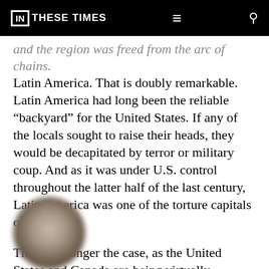IN THESE TIMES
and the region was freed from the arc of chains. Latin America. That is doubly remarkable. Latin America had long been the reliable “backyard” for the United States. If any of the locals sought to raise their heads, they would be decapitated by terror or military coup. And as it was under U.S. control throughout the latter half of the last century, Latin America was one of the torture capitals of the world.
That’s no longer the case, as the United States and Canada are being virtually expelled from the hemisphere.
[Figure (photo): Blurred circular author headshot photo at bottom left of page]